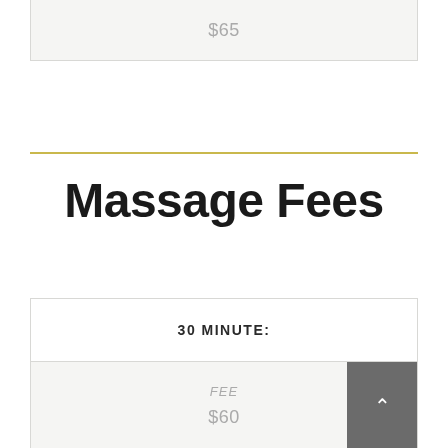$65
Massage Fees
| 30 MINUTE: | FEE |
| --- | --- |
|  | $60 |